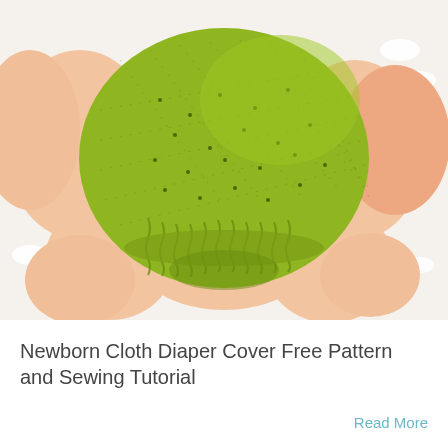[Figure (photo): A baby wearing a green cloth diaper cover with small dot pattern, lying on a white fluffy rug/blanket. The diaper cover has elastic gathering at the legs. The baby's legs and torso are visible on either side of the diaper cover.]
Newborn Cloth Diaper Cover Free Pattern and Sewing Tutorial
Read More